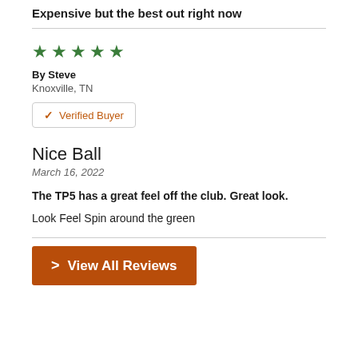Expensive but the best out right now
★★★★★
By Steve
Knoxville, TN
✓ Verified Buyer
Nice Ball
March 16, 2022
The TP5 has a great feel off the club. Great look.
Look Feel Spin around the green
> View All Reviews